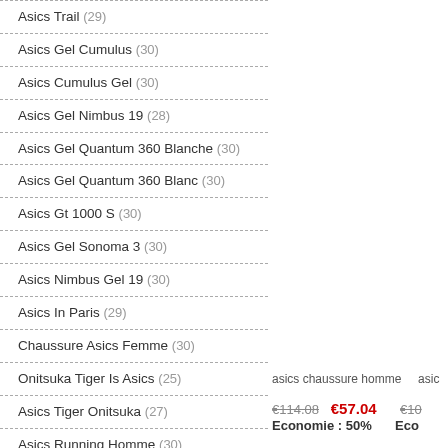Asics Trail (29)
Asics Gel Cumulus (30)
Asics Cumulus Gel (30)
Asics Gel Nimbus 19 (28)
Asics Gel Quantum 360 Blanche (30)
Asics Gel Quantum 360 Blanc (30)
Asics Gt 1000 S (30)
Asics Gel Sonoma 3 (30)
Asics Nimbus Gel 19 (30)
Asics In Paris (29)
Chaussure Asics Femme (30)
Onitsuka Tiger Is Asics (25)
Asics Tiger Onitsuka (27)
Asics Running Homme (30)
Asics Bleu (29)
Asics Chaussure Homme (30)
asics chaussure homme
asic
€114.08  €57.04  Economie : 50%
€10  Eco